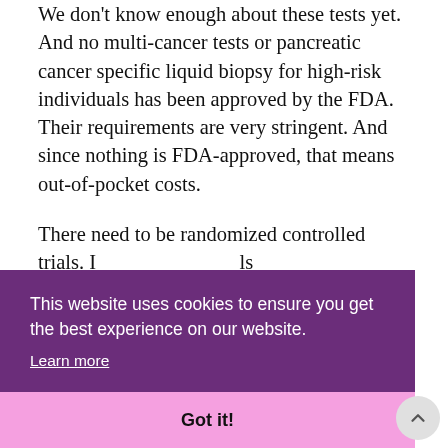We don't know enough about these tests yet. And no multi-cancer tests or pancreatic cancer specific liquid biopsy for high-risk individuals has been approved by the FDA. Their requirements are very stringent. And since nothing is FDA-approved, that means out-of-pocket costs.
There need to be randomized controlled trials. I ... ls ... over ... now ... f
This website uses cookies to ensure you get the best experience on our website. Learn more
Got it!